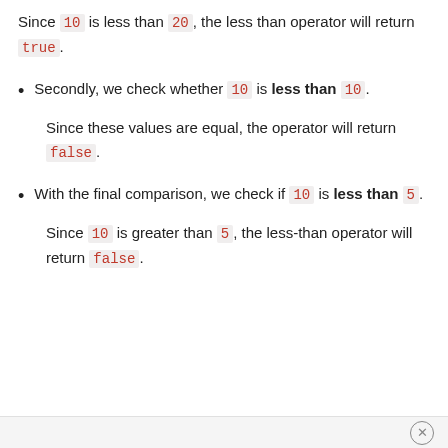Since 10 is less than 20, the less than operator will return true.
Secondly, we check whether 10 is less than 10.
Since these values are equal, the operator will return false.
With the final comparison, we check if 10 is less than 5.
Since 10 is greater than 5, the less-than operator will return false.